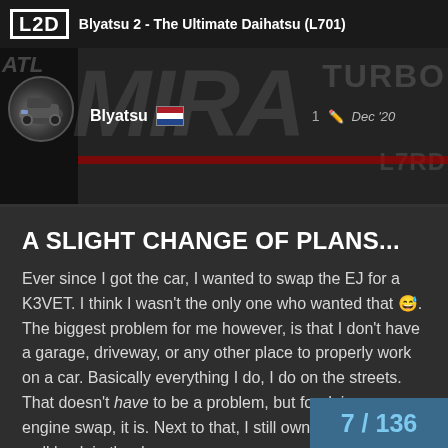L2D  Blyatsu 2 - The Ultimate Daihatsu (L701)
[Figure (screenshot): Forum thread banner showing MIRA TURBO text watermark with a car avatar, username Blyatsu with Dutch flag, edit icon, post number 1, date Dec '20]
A SLIGHT CHANGE OF PLANS...
Ever since I got the car, I wanted to swap the EJ for a K3VET. I think I wasn't the only one who wanted that 😅. The biggest problem for me however, is that I don't have a garage, driveway, or any other place to properly work on a car. Basically everything I do, I do on the streets. That doesn't have to be a problem, but for doing an engine swap, it is. Next to that, I still owned the Copen as well back in the day,
7 / 136